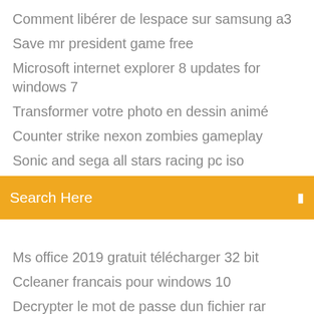Comment libérer de lespace sur samsung a3
Save mr president game free
Microsoft internet explorer 8 updates for windows 7
Transformer votre photo en dessin animé
Counter strike nexon zombies gameplay
Sonic and sega all stars racing pc iso
[Figure (screenshot): Orange search bar with text 'Search Here' and a small icon on the right]
(partial item cut off at top)
Ms office 2019 gratuit télécharger 32 bit
Ccleaner francais pour windows 10
Decrypter le mot de passe dun fichier rar
Zoo tycoon 2 ultimate collection télécharger windows 10
Télécharger nitro pro 9 64 bit
Shoot bubble deluxe gratuit pour pc
Copier les contacts dune carte sim sur une autre
Telecharger netflix windows 10 gratuit
Conversion fichier powerpoint en pdf
Vsdc gratuit video editor télécharger for windows xp